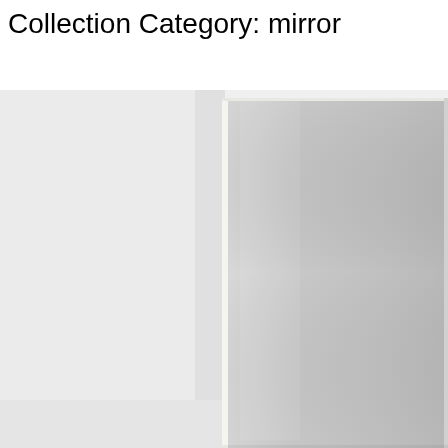Collection Category: mirror
[Figure (photo): A tall rectangular mirror leaning against or mounted near a wall. The mirror has a thin light-colored frame and reflects a light grey/neutral tone. The background is a light grey-white wall. The image is cropped showing mostly the mirror face and part of the wall behind it.]